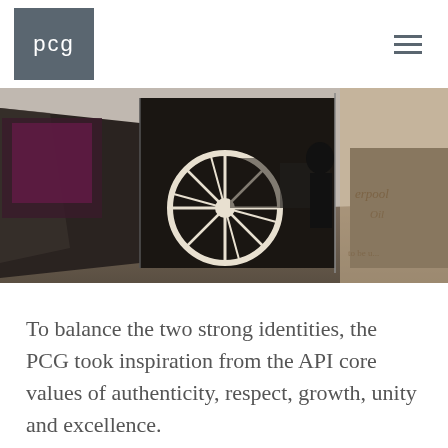pcg
[Figure (photo): Interior office/exhibition space showing reflective panels and large black-and-white photographic prints featuring a horse-drawn wagon and historical imagery mounted on display walls]
To balance the two strong identities, the PCG took inspiration from the API core values of authenticity, respect, growth, unity and excellence.